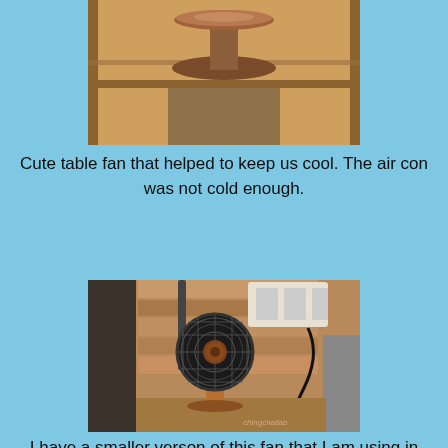[Figure (photo): Photo of a small decorative copper/bronze table fan on a wooden shelf unit, showing the base and dish-shaped top part.]
Cute table fan that helped to keep us cool. The air con was not cold enough.
[Figure (photo): Photo of a vintage-style copper table fan with round wire grille, sitting on a wooden shelf/table against a pallet wood wall with electrical outlets visible. Watermark 'chingchailab' visible.]
I have a smaller verson of this fan that I am using in my